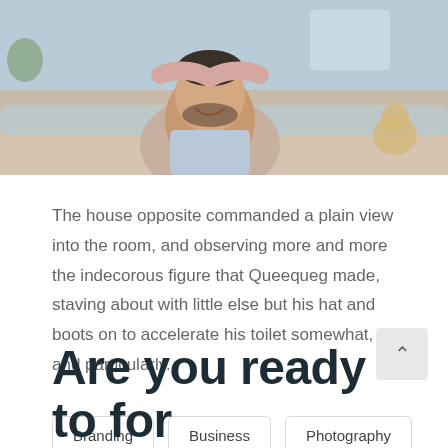[Figure (photo): A man laughing while a child playfully covers his eyes from behind, sitting on a couch]
The house opposite commanded a plain view into the room, and observing more and more the indecorous figure that Queequeg made, staving about with little else but his hat and boots on to accelerate his toilet somewhat, and particularly.
Branding
Business
Photography
Are you ready to for